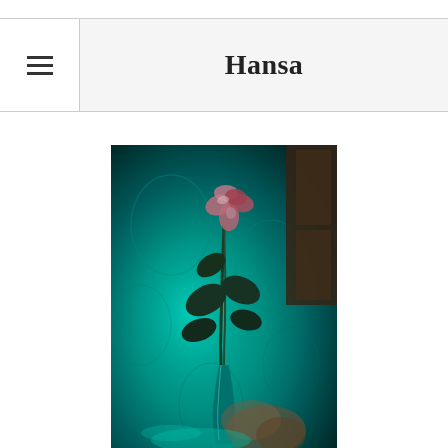Hansa
[Figure (photo): A rose with pink and red petals in a glass vase, photographed under teal/green ambient lighting against a patterned background. Dark leaves are visible on the stem. A blurred hand and possibly another glass or object appear at the bottom right.]